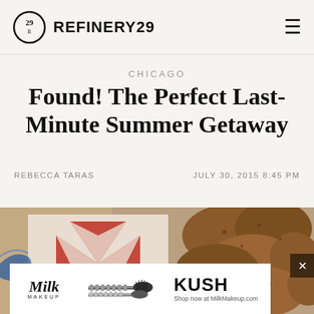REFINERY29
CHICAGO
Found! The Perfect Last-Minute Summer Getaway
REBECCA TARAS   JULY 30, 2015 8:45 PM
[Figure (photo): Photo of fried chicken pieces next to a red and white geometric patchwork quilt/cloth, viewed from above on a wooden surface with a partial bowl visible at left.]
[Figure (infographic): Advertisement overlay for Milk Makeup KUSH mascara. Shows Milk Makeup logo on left, mascara wand in center, and KUSH text with 'Shop now at MilkMakeup.com' on right.]